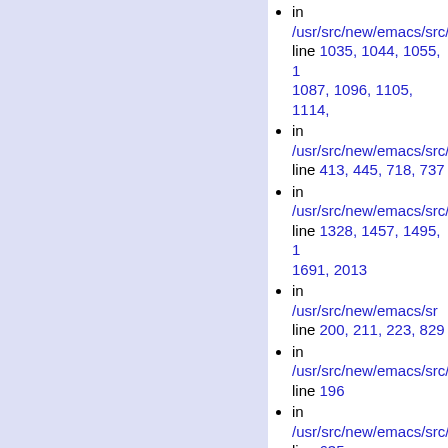in /usr/src/new/emacs/src/ line 1035, 1044, 1055, 1087, 1096, 1105, 1114,
in /usr/src/new/emacs/src/ line 413, 445, 718, 737
in /usr/src/new/emacs/src/ line 1328, 1457, 1495, 1691, 2013
in /usr/src/new/emacs/src/ line 200, 211, 223, 829
in /usr/src/new/emacs/src/ line 196
in /usr/src/new/emacs/src/ line 635
MARKBIT defined in line 239; used 4 times
in line 272-275(4)
NULL defined in line 407; used times